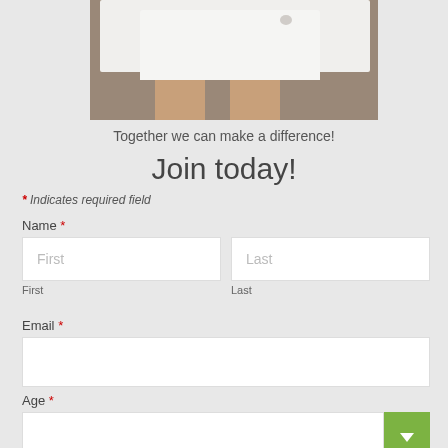[Figure (photo): Photo of a person wearing a white shirt/top, cropped to show torso and legs]
Together we can make a difference!
Join today!
* Indicates required field
Name *
First
Last
Email *
Age *